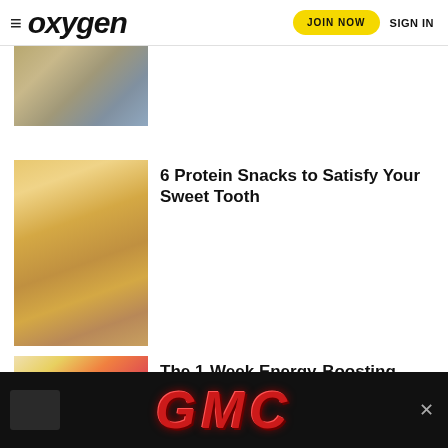oxygen — JOIN NOW  SIGN IN
[Figure (photo): Partial view of article image showing a girl outdoors, cropped at top]
[Figure (photo): Hand holding a heart-shaped protein snack/cracker with a hole in it, close-up]
6 Protein Snacks to Satisfy Your Sweet Tooth
[Figure (photo): Overhead view of a smoothie bowl with raspberries, peaches, granola, and mint]
The 1-Week Energy-Boosting Meal Plan
[Figure (photo): GMC advertisement banner with red metallic GMC logo on black background]